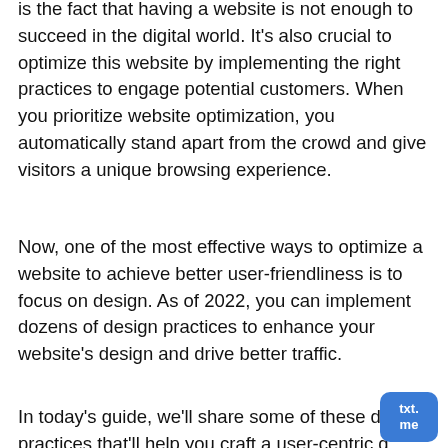is the fact that having a website is not enough to succeed in the digital world. It's also crucial to optimize this website by implementing the right practices to engage potential customers. When you prioritize website optimization, you automatically stand apart from the crowd and give visitors a unique browsing experience.
Now, one of the most effective ways to optimize a website to achieve better user-friendliness is to focus on design. As of 2022, you can implement dozens of design practices to enhance your website's design and drive better traffic.
In today's guide, we'll share some of these design practices that'll help you craft a user-centric design